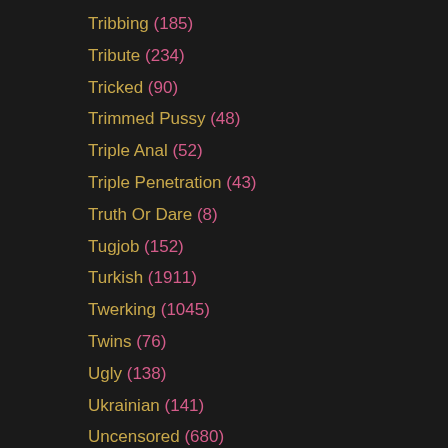Tribbing (185)
Tribute (234)
Tricked (90)
Trimmed Pussy (48)
Triple Anal (52)
Triple Penetration (43)
Truth Or Dare (8)
Tugjob (152)
Turkish (1911)
Twerking (1045)
Twins (76)
Ugly (138)
Ukrainian (141)
Uncensored (680)
Underwater (89)
Underwear (55)